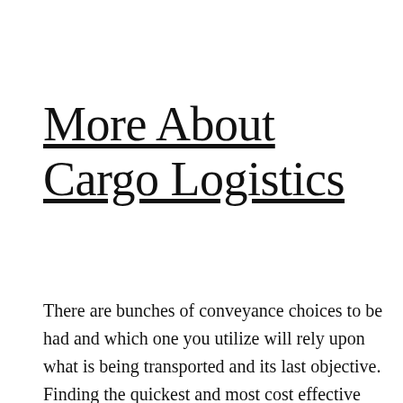More About Cargo Logistics
There are bunches of conveyance choices to be had and which one you utilize will rely upon what is being transported and its last objective. Finding the quickest and most cost effective strategy for moving merchandise from your stockroom for your customer's entry entryway calls for investment and exertion. Numerous partnerships enlist entire